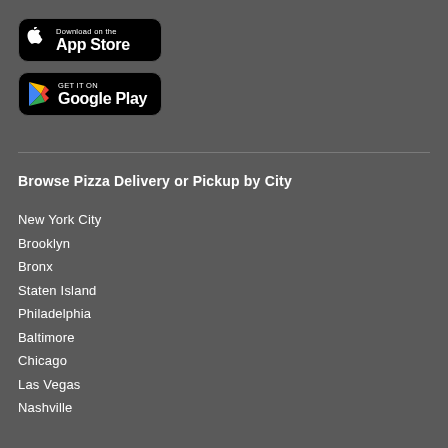[Figure (logo): Download on the App Store badge — black rounded rectangle with Apple logo and text 'Download on the App Store']
[Figure (logo): Get it on Google Play badge — black rounded rectangle with Google Play triangle logo and text 'GET IT ON Google Play']
Browse Pizza Delivery or Pickup by City
New York City
Brooklyn
Bronx
Staten Island
Philadelphia
Baltimore
Chicago
Las Vegas
Nashville